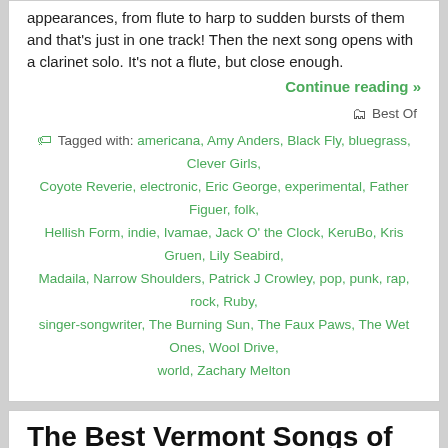appearances, from flute to harp to sudden bursts of them and that's just in one track! Then the next song opens with a clarinet solo. It's not a flute, but close enough.
Continue reading »
Best Of
Tagged with: americana, Amy Anders, Black Fly, bluegrass, Clever Girls, Coyote Reverie, electronic, Eric George, experimental, Father Figuer, folk, Hellish Form, indie, Ivamae, Jack O' the Clock, KeruBo, Kris Gruen, Lily Seabird, Madaila, Narrow Shoulders, Patrick J Crowley, pop, punk, rap, rock, Ruby, singer-songwriter, The Burning Sun, The Faux Paws, The Wet Ones, Wool Drive, world, Zachary Melton
The Best Vermont Songs of 2021
Dec 22 2021
Comments Off
[Figure (photo): Strip of four album covers for Vermont Songs of 2021 article]